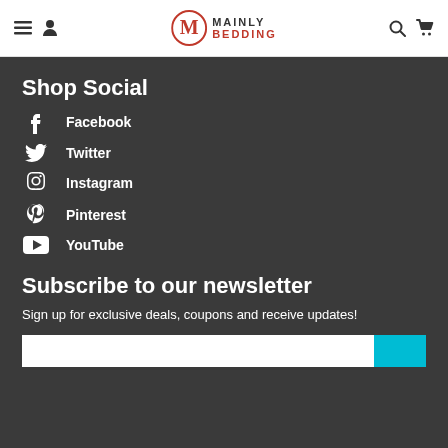Mainly Bedding - navigation header with menu, user, search, and cart icons
Shop Social
Facebook
Twitter
Pinterest
Instagram
YouTube
Subscribe to our newsletter
Sign up for exclusive deals, coupons and receive updates!